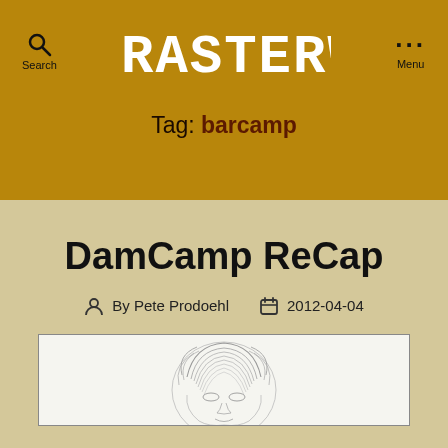RASTERWEB
Tag: barcamp
DamCamp ReCap
By Pete Prodoehl  2012-04-04
[Figure (illustration): A pencil sketch illustration of a person's face/head with fingerprint-like curved lines forming the hair and facial features.]